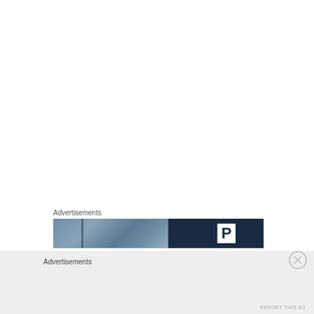Advertisements
[Figure (photo): Advertisement banner with a blurred building/exterior photo on the left half and a dark navy background with a white 'P' logo box on the right half]
Advertisements
[Figure (other): Close (X) button circle icon in light gray]
REPORT THIS AD